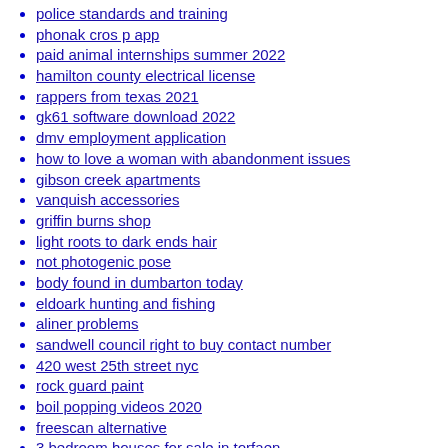police standards and training
phonak cros p app
paid animal internships summer 2022
hamilton county electrical license
rappers from texas 2021
gk61 software download 2022
dmv employment application
how to love a woman with abandonment issues
gibson creek apartments
vanquish accessories
griffin burns shop
light roots to dark ends hair
not photogenic pose
body found in dumbarton today
eldoark hunting and fishing
aliner problems
sandwell council right to buy contact number
420 west 25th street nyc
rock guard paint
boil popping videos 2020
freescan alternative
3 bedroom houses for sale in torfaen
isha koppikar daughter
2005 kawasaki brute force 750 backfiring through exhaust
nagiyalay capcut trend